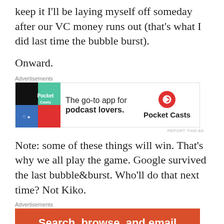keep it I'll be laying myself off someday after our VC money runs out (that's what I did last time the bubble burst).
Onward.
[Figure (other): Pocket Casts advertisement: app icon on left (colorful quadrant squares), text 'The go-to app for podcast lovers.' and Pocket Casts logo on right]
Note: some of these things will win. That's why we all play the game. Google survived the last bubble&burst. Who'll do that next time? Not Kiko.
[Figure (other): Advertisement with orange background: 'Search, browse, and email with more privacy. All in One Free App']